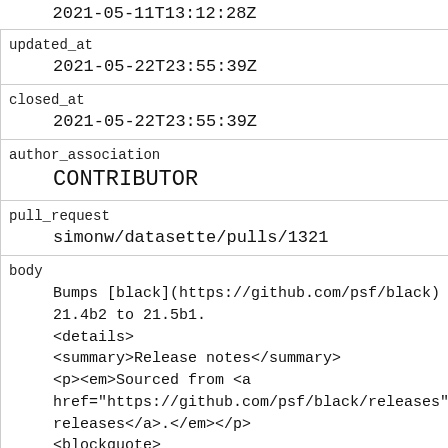|  | 2021-05-11T13:12:28Z |
| updated_at | 2021-05-22T23:55:39Z |
| closed_at | 2021-05-22T23:55:39Z |
| author_association | CONTRIBUTOR |
| pull_request | simonw/datasette/pulls/1321 |
| body | Bumps [black](https://github.com/psf/black) from 21.4b2 to 21.5b1.
<details>
<summary>Release notes</summary>
<p><em>Sourced from <a href="https://github.com/psf/black/releases">black's releases</a>.</em></p>
<blockquote>
<h2>21.5b1</h2> |